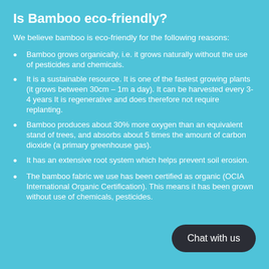Is Bamboo eco-friendly?
We believe bamboo is eco-friendly for the following reasons:
Bamboo grows organically, i.e. it grows naturally without the use of pesticides and chemicals.
It is a sustainable resource. It is one of the fastest growing plants (it grows between 30cm – 1m a day). It can be harvested every 3-4 years It is regenerative and does therefore not require replanting.
Bamboo produces about 30% more oxygen than an equivalent stand of trees, and absorbs about 5 times the amount of carbon dioxide (a primary greenhouse gas).
It has an extensive root system which helps prevent soil erosion.
The bamboo fabric we use has been certified as organic (OCIA International Organic Certification). This means it has been grown without use of chemicals, pesticides.